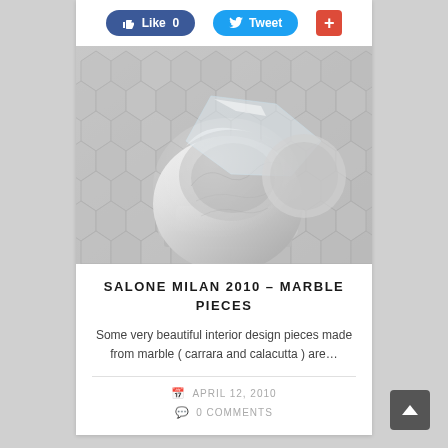[Figure (screenshot): Social sharing bar with Facebook Like (0), Twitter Tweet, and Google+ buttons]
[Figure (photo): Marble sculptural pieces on a geometric patterned surface, in white and grey tones]
SALONE MILAN 2010 – MARBLE PIECES
Some very beautiful interior design pieces made from marble ( carrara and calacutta ) are…
APRIL 12, 2010
0 COMMENTS